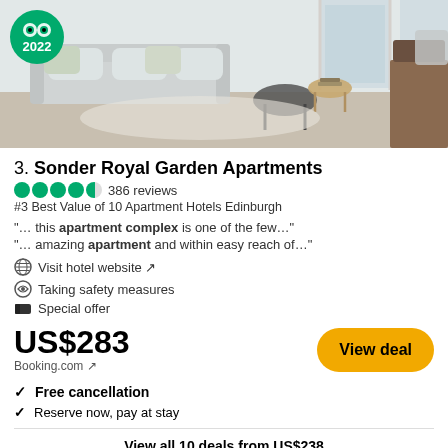[Figure (photo): Interior photo of a modern apartment living room with light grey sofa, round coffee tables, and large windows. TripAdvisor 2022 badge in top-left corner.]
3. Sonder Royal Garden Apartments
386 reviews
#3 Best Value of 10 Apartment Hotels Edinburgh
"... this apartment complex is one of the few..."
"... amazing apartment and within easy reach of..."
Visit hotel website ↗
Taking safety measures
Special offer
US$283
Booking.com ↗
View deal
Free cancellation
Reserve now, pay at stay
View all 10 deals from US$238